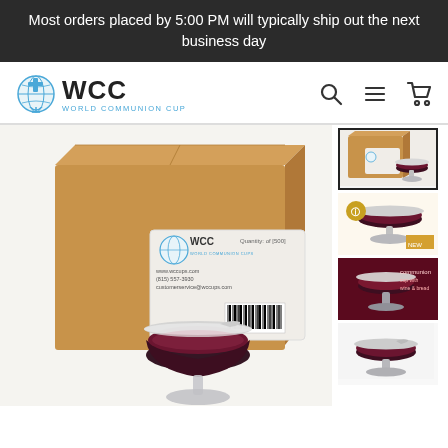Most orders placed by 5:00 PM will typically ship out the next business day
[Figure (logo): WCC World Communion Cups logo with globe and cross icon]
[Figure (screenshot): E-commerce product page showing a cardboard box with WCC label and a glass communion cup filled with dark liquid in the foreground. Thumbnail images on the right side show multiple product views.]